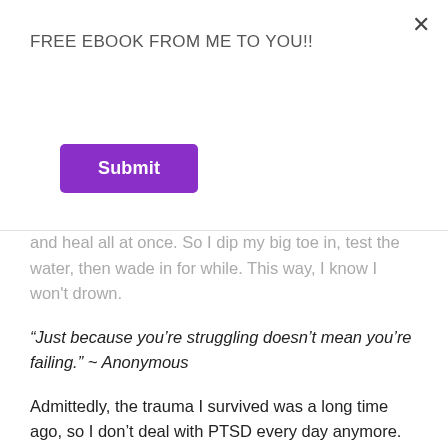FREE EBOOK FROM ME TO YOU!!
Submit
and heal all at once. So I dip my big toe in, test the water, then wade in for while. This way, I know I won't drown.
“Just because you’re struggling doesn’t mean you’re failing.” ~ Anonymous
Admittedly, the trauma I survived was a long time ago, so I don’t deal with PTSD every day anymore. But I clearly remember the early days, months and years when I was working so hard to heal, and was regularly triggered. I would get so frustrated about triggers. “Aren’t I getting better?” “When will I be done dealing with this?” “When will I be healed?” Overtime, the